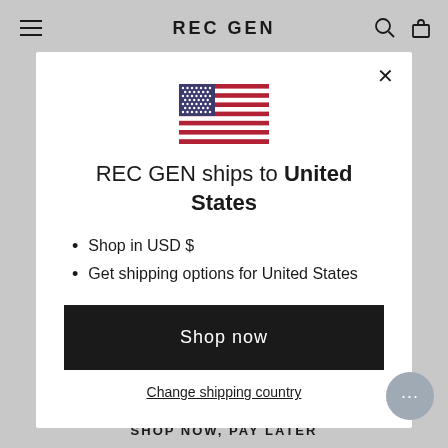REC GEN
[Figure (illustration): US flag illustration in modal dialog]
REC GEN ships to United States
Shop in USD $
Get shipping options for United States
Shop now
Change shipping country
SHOP NOW, PAY LATER